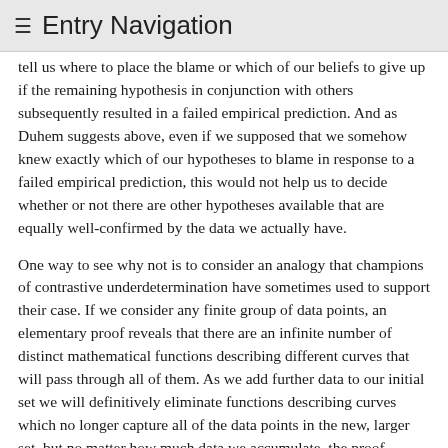≡ Entry Navigation
tell us where to place the blame or which of our beliefs to give up if the remaining hypothesis in conjunction with others subsequently resulted in a failed empirical prediction. And as Duhem suggests above, even if we supposed that we somehow knew exactly which of our hypotheses to blame in response to a failed empirical prediction, this would not help us to decide whether or not there are other hypotheses available that are equally well-confirmed by the data we actually have.
One way to see why not is to consider an analogy that champions of contrastive underdetermination have sometimes used to support their case. If we consider any finite group of data points, an elementary proof reveals that there are an infinite number of distinct mathematical functions describing different curves that will pass through all of them. As we add further data to our initial set we will definitively eliminate functions describing curves which no longer capture all of the data points in the new, larger set, but no matter how much data we accumulate, the proof guarantees that there will always be